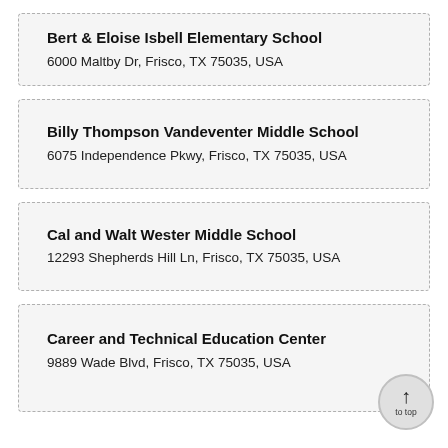Bert & Eloise Isbell Elementary School
6000 Maltby Dr, Frisco, TX 75035, USA
Billy Thompson Vandeventer Middle School
6075 Independence Pkwy, Frisco, TX 75035, USA
Cal and Walt Wester Middle School
12293 Shepherds Hill Ln, Frisco, TX 75035, USA
Career and Technical Education Center
9889 Wade Blvd, Frisco, TX 75035, USA